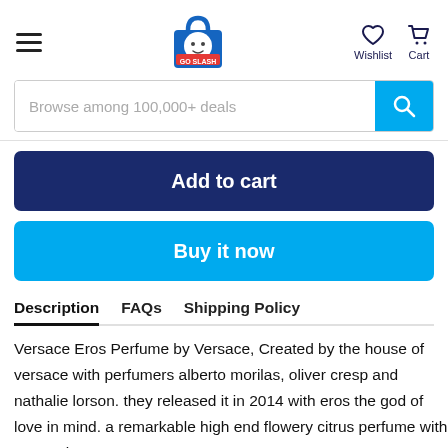GoSlash store header with hamburger menu, logo, Wishlist and Cart icons
Browse among 100,000+ deals
Add to cart
Buy it now
Description   FAQs   Shipping Policy
Versace Eros Perfume by Versace, Created by the house of versace with perfumers alberto morilas, oliver cresp and nathalie lorson. they released it in 2014 with eros the god of love in mind. a remarkable high end flowery citrus perfume with grace pizzazz.